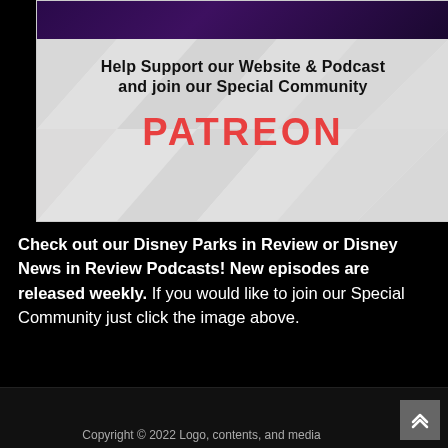[Figure (illustration): Patreon promotional banner with geometric triangle background pattern, headline text and Patreon wordmark in red]
Check out our Disney Parks in Review or Disney News in Review Podcasts! New episodes are released weekly. If you would like to join our Special Community just click the image above.
Copyright © 2022 Logo, contents, and media